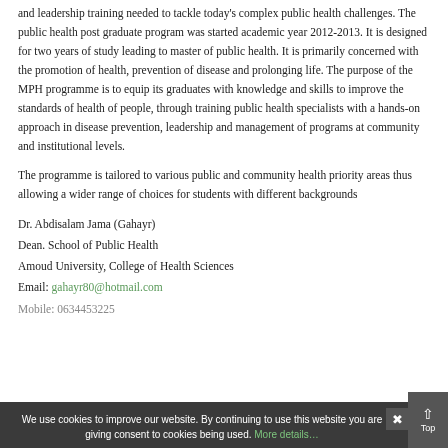and leadership training needed to tackle today's complex public health challenges. The public health post graduate program was started academic year 2012-2013. It is designed for two years of study leading to master of public health. It is primarily concerned with the promotion of health, prevention of disease and prolonging life. The purpose of the MPH programme is to equip its graduates with knowledge and skills to improve the standards of health of people, through training public health specialists with a hands-on approach in disease prevention, leadership and management of programs at community and institutional levels.
The programme is tailored to various public and community health priority areas thus allowing a wider range of choices for students with different backgrounds
Dr. Abdisalam Jama (Gahayr)
Dean. School of Public Health
Amoud University, College of Health Sciences
Email: gahayr80@hotmail.com
Mobile: 0634453225
We use cookies to improve our website. By continuing to use this website are giving consent to cookies being used. More details…